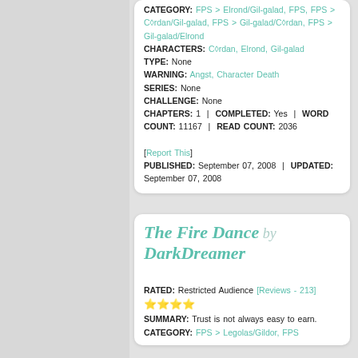CATEGORY: FPS > Elrond/Gil-galad, FPS, FPS > Córdan/Gil-galad, FPS > Gil-galad/Córdan, FPS > Gil-galad/Elrond CHARACTERS: Córdan, Elrond, Gil-galad TYPE: None WARNING: Angst, Character Death SERIES: None CHALLENGE: None CHAPTERS: 1 | COMPLETED: Yes | WORD COUNT: 11167 | READ COUNT: 2036 [Report This] PUBLISHED: September 07, 2008 | UPDATED: September 07, 2008
The Fire Dance by DarkDreamer
RATED: Restricted Audience [Reviews - 213] ★★★½ SUMMARY: Trust is not always easy to earn. CATEGORY: FPS > Legolas/Gildor, FPS